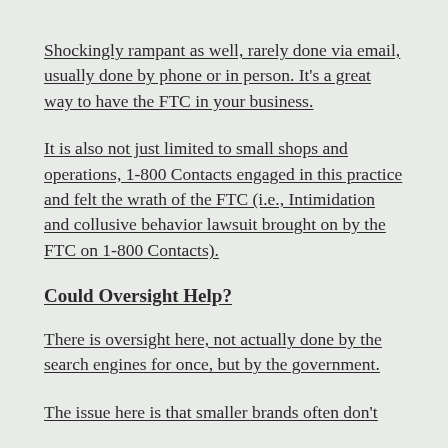Shockingly rampant as well, rarely done via email, usually done by phone or in person. It's a great way to have the FTC in your business.
It is also not just limited to small shops and operations, 1-800 Contacts engaged in this practice and felt the wrath of the FTC (i.e., Intimidation and collusive behavior lawsuit brought on by the FTC on 1-800 Contacts).
Could Oversight Help?
There is oversight here, not actually done by the search engines for once, but by the government.
The issue here is that smaller brands often don't